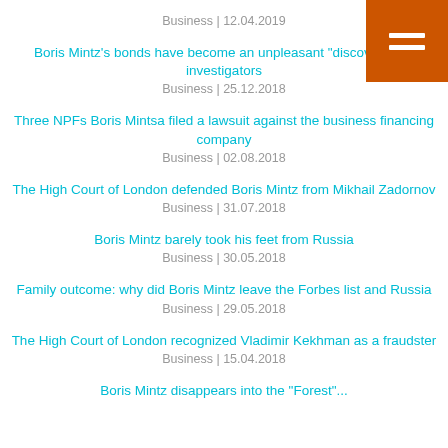Business | 12.04.2019
Boris Mintz's bonds have become an unpleasant "discovery" for investigators
Business | 25.12.2018
Three NPFs Boris Mintsa filed a lawsuit against the business financing company
Business | 02.08.2018
The High Court of London defended Boris Mintz from Mikhail Zadornov
Business | 31.07.2018
Boris Mintz barely took his feet from Russia
Business | 30.05.2018
Family outcome: why did Boris Mintz leave the Forbes list and Russia
Business | 29.05.2018
The High Court of London recognized Vladimir Kekhman as a fraudster
Business | 15.04.2018
Boris Mintz disappears into the "Forest"...